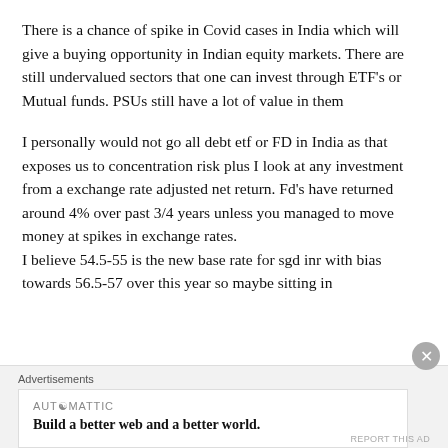There is a chance of spike in Covid cases in India which will give a buying opportunity in Indian equity markets. There are still undervalued sectors that one can invest through ETF's or Mutual funds. PSUs still have a lot of value in them
I personally would not go all debt etf or FD in India as that exposes us to concentration risk plus I look at any investment from a exchange rate adjusted net return. Fd's have returned around 4% over past 3/4 years unless you managed to move money at spikes in exchange rates.
I believe 54.5-55 is the new base rate for sgd inr with bias towards 56.5-57 over this year so maybe sitting in
Advertisements
AUTOMATTIC
Build a better web and a better world.